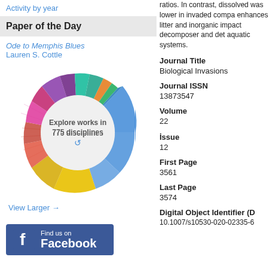Activity by year
Paper of the Day
Ode to Memphis Blues
Lauren S. Cottle
[Figure (donut-chart): Colorful donut/sunburst chart with text in center reading 'Explore works in 775 disciplines']
View Larger →
[Figure (logo): Find us on Facebook logo box with blue background]
ratios. In contrast, dissolved was lower in invaded compa enhances litter and inorganic impact decomposer and det aquatic systems.
Journal Title
Biological Invasions
Journal ISSN
13873547
Volume
22
Issue
12
First Page
3561
Last Page
3574
Digital Object Identifier (D
10.1007/s10530-020-02335-6